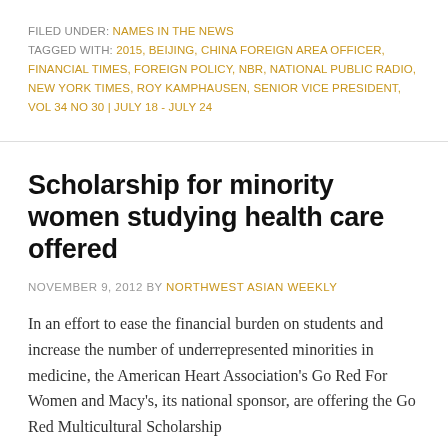FILED UNDER: NAMES IN THE NEWS
TAGGED WITH: 2015, BEIJING, CHINA FOREIGN AREA OFFICER, FINANCIAL TIMES, FOREIGN POLICY, NBR, NATIONAL PUBLIC RADIO, NEW YORK TIMES, ROY KAMPHAUSEN, SENIOR VICE PRESIDENT, VOL 34 NO 30 | JULY 18 - JULY 24
Scholarship for minority women studying health care offered
NOVEMBER 9, 2012 BY NORTHWEST ASIAN WEEKLY
In an effort to ease the financial burden on students and increase the number of underrepresented minorities in medicine, the American Heart Association's Go Red For Women and Macy's, its national sponsor, are offering the Go Red Multicultural Scholarship